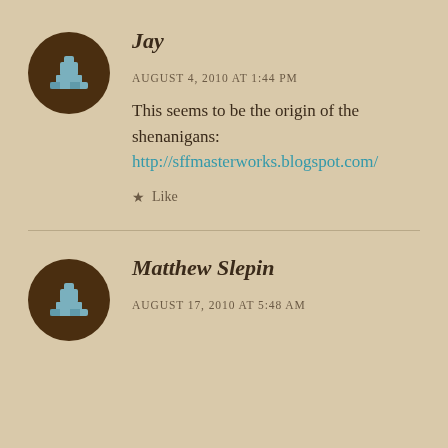Jay
AUGUST 4, 2010 AT 1:44 PM
This seems to be the origin of the shenanigans: http://sffmasterworks.blogspot.com/
Like
Matthew Slepin
AUGUST 17, 2010 AT 5:48 AM